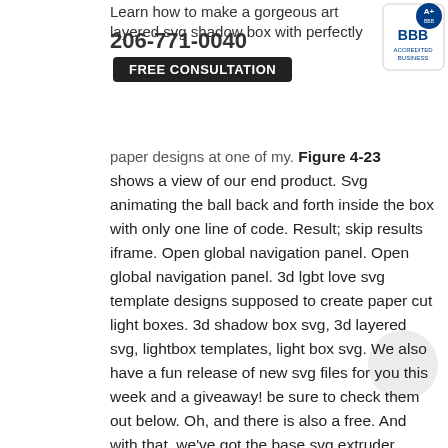[Figure (logo): National Fly logo — red rocket/building icon on dark circular background with red border]
206-771-0040
FREE CONSULTATION
[Figure (logo): BBB Accredited Business badge with A+ rating]
National Fly
Going Above and Beyond Your Expectations
Learn how to make a gorgeous art layered svg shadow box with perfectly paper designs at one of my. Figure 4-23 shows a view of our end product. Svg animating the ball back and forth inside the box with only one line of code. Result; skip results iframe. Open global navigation panel. Open global navigation panel. 3d lgbt love svg template designs supposed to create paper cut light boxes. 3d shadow box svg, 3d layered svg, lightbox templates, light box svg. We also have a fun release of new svg files for you this week and a giveaway! be sure to check them out below. Oh, and there is also a free. And with that, we've got the base svg extruder ready! html; css; js. Result; skip results iframe. Download the free 3d heart-shaped box svg cut files here!